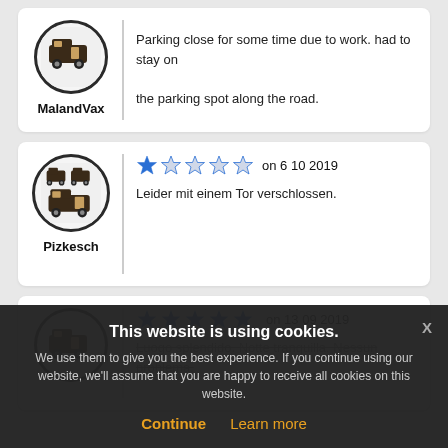[Figure (illustration): Campervan avatar icon in dark circle for user MalandVax]
MalandVax
Parking close for some time due to work. had to stay on the parking spot along the road.
[Figure (illustration): Campervan avatar icon in dark circle for user Pizkesch]
Pizkesch
1 star out of 5 on 6 10 2019
Leider mit einem Tor verschlossen.
[Figure (illustration): Campervan avatar icon in dark circle for third reviewer]
5 stars out of 5 on 13 09 2019
Luogo splendido. Notte tranquilla. Nessun problema.
This website is using cookies.
We use them to give you the best experience. If you continue using our website, we'll assume that you are happy to receive all cookies on this website.
Continue  Learn more